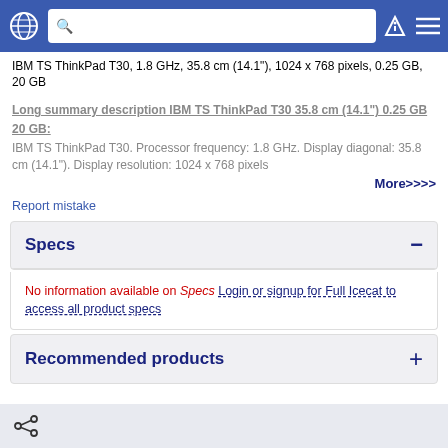Navigation bar with globe icon, search bar, filter icon, and menu icon
IBM TS ThinkPad T30, 1.8 GHz, 35.8 cm (14.1"), 1024 x 768 pixels, 0.25 GB, 20 GB
Long summary description IBM TS ThinkPad T30 35.8 cm (14.1") 0.25 GB 20 GB:
IBM TS ThinkPad T30. Processor frequency: 1.8 GHz. Display diagonal: 35.8 cm (14.1"). Display resolution: 1024 x 768 pixels...
More>>>>
Report mistake
Specs
No information available on Specs Login or signup for Full Icecat to access all product specs
Recommended products
Share